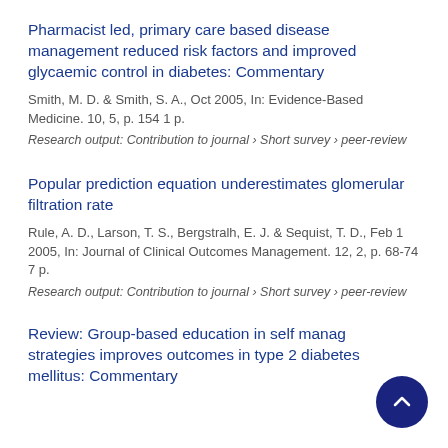Pharmacist led, primary care based disease management reduced risk factors and improved glycaemic control in diabetes: Commentary
Smith, M. D. & Smith, S. A., Oct 2005, In: Evidence-Based Medicine. 10, 5, p. 154 1 p.
Research output: Contribution to journal › Short survey › peer-review
Popular prediction equation underestimates glomerular filtration rate
Rule, A. D., Larson, T. S., Bergstralh, E. J. & Sequist, T. D., Feb 1 2005, In: Journal of Clinical Outcomes Management. 12, 2, p. 68-74 7 p.
Research output: Contribution to journal › Short survey › peer-review
Review: Group-based education in self management strategies improves outcomes in type 2 diabetes mellitus: Commentary